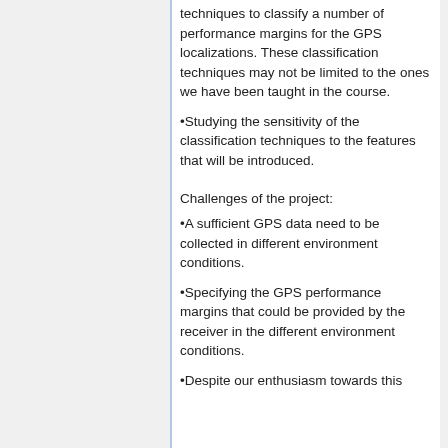techniques to classify a number of performance margins for the GPS localizations. These classification techniques may not be limited to the ones we have been taught in the course.
•Studying the sensitivity of the classification techniques to the features that will be introduced.
Challenges of the project:
•A sufficient GPS data need to be collected in different environment conditions.
•Specifying the GPS performance margins that could be provided by the receiver in the different environment conditions.
•Despite our enthusiasm towards this